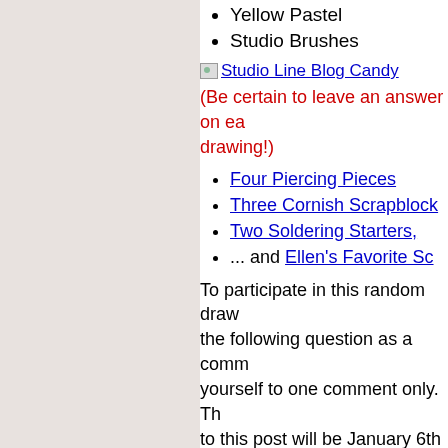Yellow Pastel
Studio Brushes
[Figure (other): Studio Line Blog Candy image link]
(Be certain to leave an answer on each blog for each drawing!)
Four Piercing Pieces
Three Cornish Scrapblock
Two Soldering Starters,
... and Ellen's Favorite Sc
To participate in this random draw the following question as a comm yourself to one comment only. Th to this post will be January 6th at winners (which will be drawn using for all twelve days on January 7th